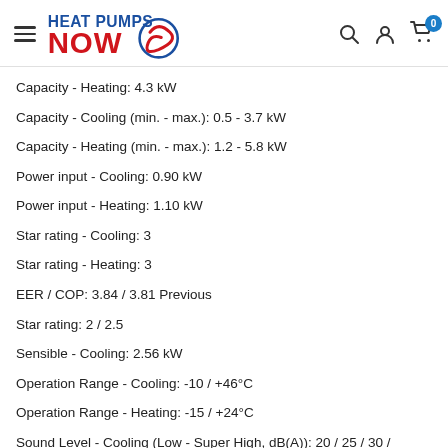Heat Pumps Now — navigation header with search, account, and cart icons
Capacity - Heating: 4.3 kW
Capacity - Cooling (min. - max.): 0.5 - 3.7 kW
Capacity - Heating (min. - max.): 1.2 - 5.8 kW
Power input - Cooling: 0.90 kW
Power input - Heating: 1.10 kW
Star rating - Cooling: 3
Star rating - Heating: 3
EER / COP: 3.84 / 3.81 Previous
Star rating: 2 / 2.5
Sensible - Cooling: 2.56 kW
Operation Range - Cooling: -10 / +46°C
Operation Range - Heating: -15 / +24°C
Sound Level - Cooling (Low - Super High, dB(A)): 20 / 25 / 30 / 35 / 39